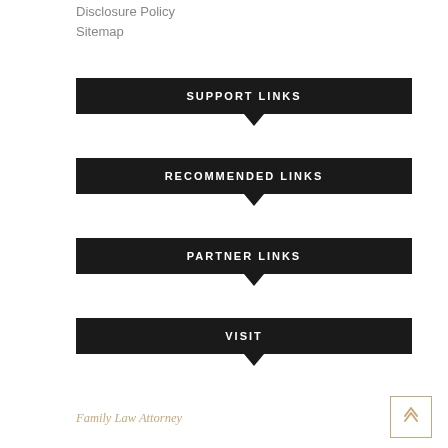Disclosure Policy
Sitemap
SUPPORT LINKS
RECOMMENDED LINKS
PARTNER LINKS
VISIT
Family Law Attorney